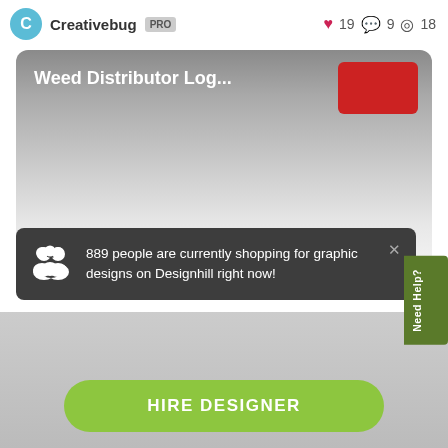Creativebug PRO  ❤ 19  💬 9  👁 18
[Figure (screenshot): A card with gradient background showing 'Weed Distributor Log...' title in white bold text, and a red rectangle in the top-right corner.]
889 people are currently shopping for graphic designs on Designhill right now!
Need Help?
HIRE DESIGNER